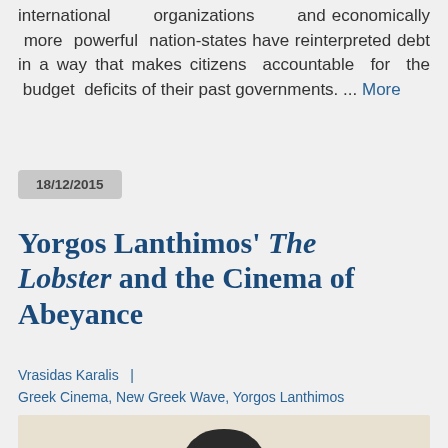international organizations and economically more powerful nation-states have reinterpreted debt in a way that makes citizens accountable for the budget deficits of their past governments. ... More
18/12/2015
Yorgos Lanthimos' The Lobster and the Cinema of Abeyance
Vrasidas Karalis |
Greek Cinema, New Greek Wave, Yorgos Lanthimos
[Figure (photo): Black and white photo of a person from the chest up, with dark hair and glasses, against a light beige background]